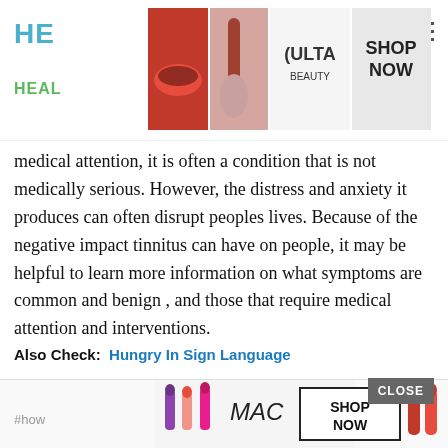HE... HEAL...
[Figure (photo): Ulta Beauty advertisement banner with makeup images and SHOP NOW call to action]
medical attention, it is often a condition that is not medically serious. However, the distress and anxiety it produces can often disrupt peoples lives. Because of the negative impact tinnitus can have on people, it may be helpful to learn more information on what symptoms are common and benign , and those that require medical attention and interventions.
Also Check:  Hungry In Sign Language
Home Remedies For Tinnitus With Head Tapping Technique
[Figure (photo): MAC cosmetics advertisement banner with lipstick images and SHOP NOW call to action]
#how